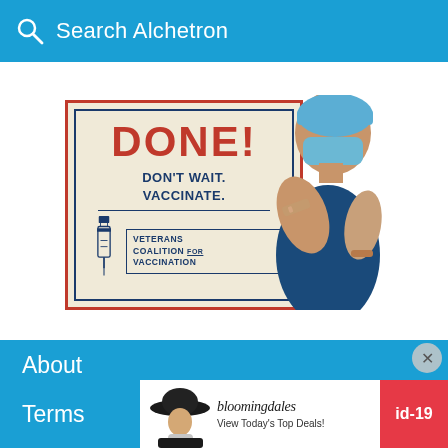Search Alchetron
[Figure (illustration): Vaccination promotional poster showing 'DONE! DON'T WAIT. VACCINATE. VETERANS COALITION FOR VACCINATION' with a person flexing their arm showing a bandage after vaccination, wearing a mask]
About
Terms
Privacy
Contact
Alchetr...
[Figure (advertisement): Bloomingdale's advertisement: 'View Today's Top Deals!' with SHOP NOW button and a model wearing a hat. Red badge shows 'id-19']